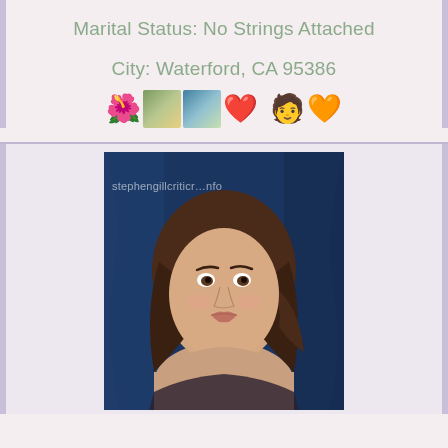Marital Status: No Strings Attached
City: Waterford, CA 95386
[Figure (other): Row of icons including emoji and thumbnail images: red flower emoji, two photo thumbnails, red heart emoji, green person emoji, red heart emoji]
[Figure (photo): Portrait photo of a young woman with long brown wavy hair, lightly smiling, against a dark blue draped background. Watermark text reads: stephengillcriticr..nfo]